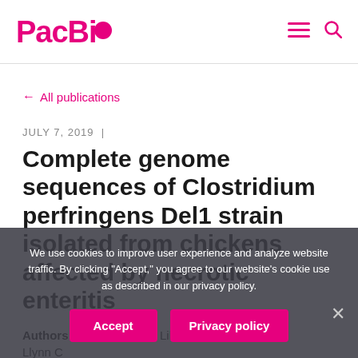PacBio
← All publications
JULY 7, 2019 |
Complete genome sequences of Clostridium perfringens Del1 strain isolated from chickens affected by necrotic enteritis
Authors: Li, Chan, Y, and Lillehoj, Llynn C
We use cookies to improve user experience and analyze website traffic. By clicking "Accept," you agree to our website's cookie use as described in our privacy policy.